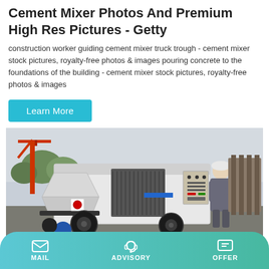Cement Mixer Photos And Premium High Res Pictures - Getty
construction worker guiding cement mixer truck trough - cement mixer stock pictures, royalty-free photos & images pouring concrete to the foundations of the building - cement mixer stock pictures, royalty-free photos & images
Learn More
[Figure (photo): A worker in a grey uniform inspecting/operating a large white concrete pump machine with a hopper on a construction site, with a crane and trees in the background.]
MAIL   ADVISORY   OFFER